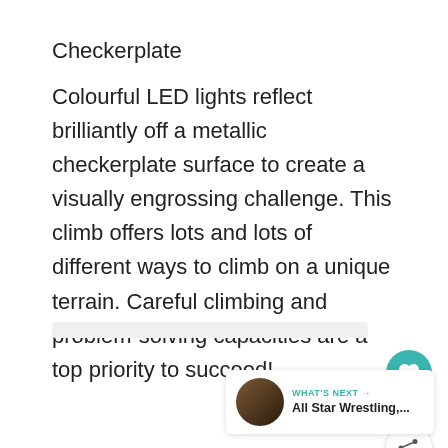Checkerplate
Colourful LED lights reflect brilliantly off a metallic checkerplate surface to create a visually engrossing challenge. This climb offers lots and lots of different ways to climb on a unique terrain. Careful climbing and problem-solving capacities are a top priority to succeed!
[Figure (other): Gray placeholder image area below the text]
[Figure (other): UI element: teal heart/like button with count of 1, and a share button]
[Figure (other): What's Next card: All Star Wrestling,... with thumbnail]